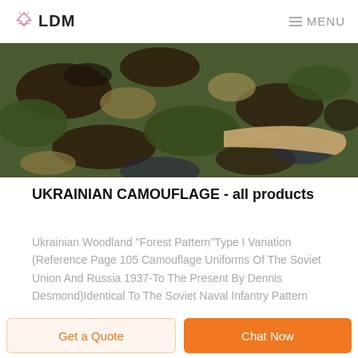LDM  MENU
[Figure (photo): A camouflage military cap with woodland forest pattern in green, brown, and black colors, photographed from the side showing the brim.]
UKRAINIAN CAMOUFLAGE - all products
Ukrainian Woodland "Forest Pattern"Type I Variation (Reference Page 105 Camouflage Uniforms Of The Soviet Union And Russia 1937-To The Present By Dennis Desmond)Identical To The Soviet Naval Infantry Pattern